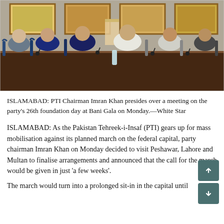[Figure (photo): PTI Chairman Imran Khan presiding over a meeting at Bani Gala, seated at a large conference table with several party officials on either side.]
ISLAMABAD: PTI Chairman Imran Khan presides over a meeting on the party's 26th foundation day at Bani Gala on Monday.—White Star
ISLAMABAD: As the Pakistan Tehreek-i-Insaf (PTI) gears up for mass mobilisation against its planned march on the federal capital, party chairman Imran Khan on Monday decided to visit Peshawar, Lahore and Multan to finalise arrangements and announced that the call for the march would be given in just 'a few weeks'.
The march would turn into a prolonged sit-in in the capital until